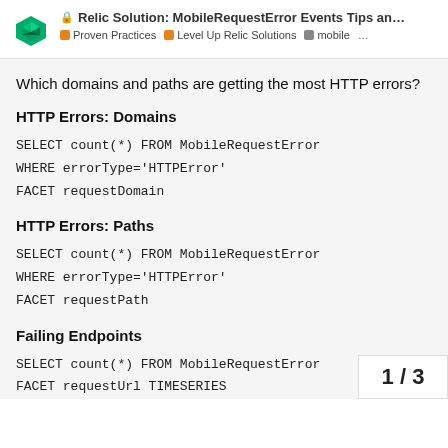🔒 Relic Solution: MobileRequestError Events Tips an... | Proven Practices | Level Up Relic Solutions | mobile ...
Which domains and paths are getting the most HTTP errors?
HTTP Errors: Domains
HTTP Errors: Paths
Failing Endpoints
1 / 3